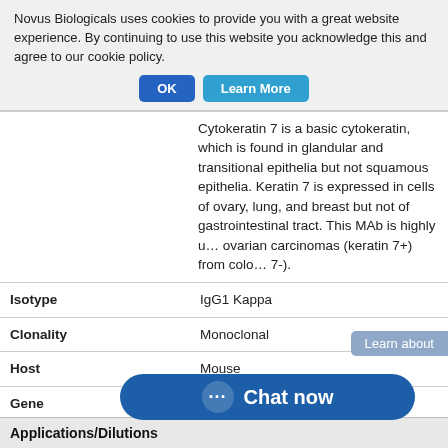Novus Biologicals uses cookies to provide you with a great website experience. By continuing to use this website you acknowledge this and agree to our cookie policy.
| Property | Value |
| --- | --- |
| (description) | Cytokeratin 7 is a basic cytokeratin, which is found in glandular and transitional epithelia but not squamous epithelia. Keratin 7 is expressed in cells of ovary, lung, and breast but not of gastrointestinal tract. This MAb is highly useful in distinguishing ovarian carcinomas (keratin 7+) from colorectal carcinomas (keratin 7-). |
| Isotype | IgG1 Kappa |
| Clonality | Monoclonal |
| Host | Mouse |
| Gene | KRT7 |
| Purity | Protein A or G purified |
| Innovator's Reward | Test in a species/application not listed above and receive a credit towards a future purchase. |
Applications/Dilutions